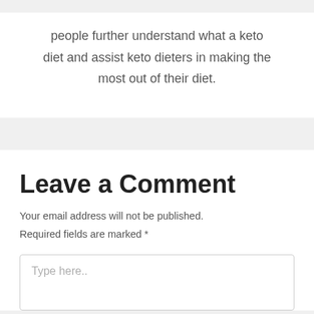people further understand what a keto diet and assist keto dieters in making the most out of their diet.
Leave a Comment
Your email address will not be published. Required fields are marked *